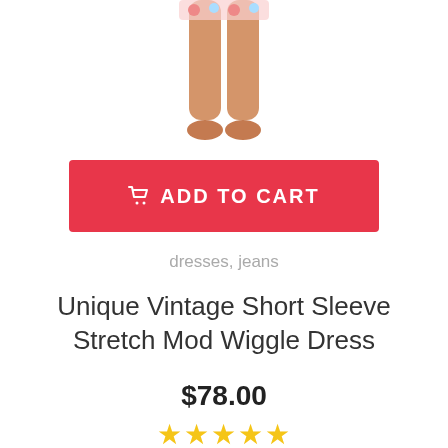[Figure (photo): Partial view of a person's legs wearing a dress, cropped from the knees up, showing the lower portion of a model wearing a short dress]
[Figure (other): Red 'ADD TO CART' button with shopping cart icon]
dresses, jeans
Unique Vintage Short Sleeve Stretch Mod Wiggle Dress
$78.00
★★★★★